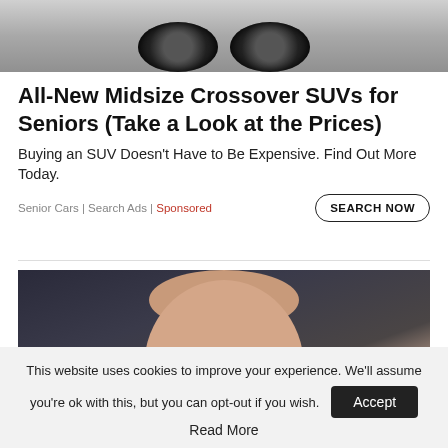[Figure (photo): Top portion of a car, showing what appears to be a wheel/rim area in black and white/grayscale]
All-New Midsize Crossover SUVs for Seniors (Take a Look at the Prices)
Buying an SUV Doesn't Have to Be Expensive. Find Out More Today.
Senior Cars | Search Ads | Sponsored
SEARCH NOW
[Figure (photo): Close-up portrait photo of a bald man with round wire-frame glasses against a dark background]
This website uses cookies to improve your experience. We'll assume you're ok with this, but you can opt-out if you wish.
Accept
Read More